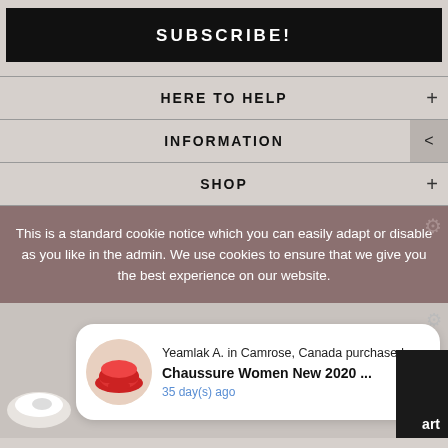SUBSCRIBE!
HERE TO HELP
INFORMATION
SHOP
This is a standard cookie notice which you can easily adapt or disable as you like in the admin. We use cookies to ensure that we give you the best experience on our website.
Yeamlak A. in Camrose, Canada purchased
Chaussure Women New 2020 ...
35 day(s) ago